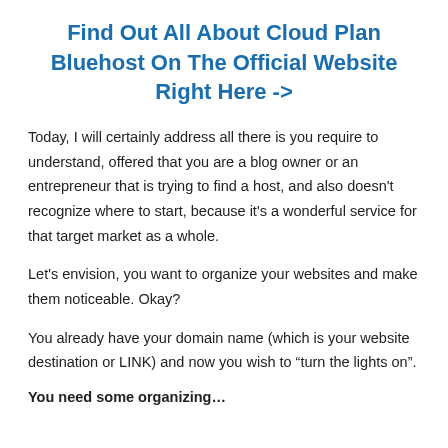Find Out All About Cloud Plan Bluehost On The Official Website Right Here ->
Today, I will certainly address all there is you require to understand, offered that you are a blog owner or an entrepreneur that is trying to find a host, and also doesn't recognize where to start, because it's a wonderful service for that target market as a whole.
Let's envision, you want to organize your websites and make them noticeable. Okay?
You already have your domain name (which is your website destination or LINK) and now you wish to “turn the lights on”.
You need some organizing…